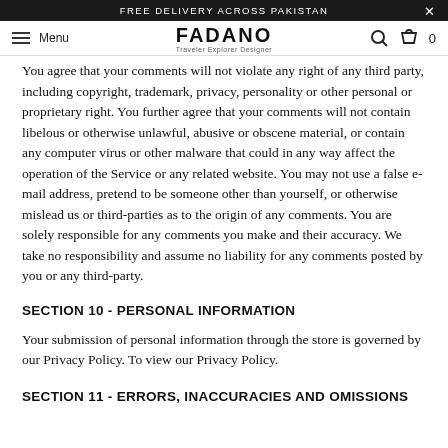FREE DELIVERY ACROSS PAKISTAN
[Figure (screenshot): Fadano website navigation bar with hamburger menu, Menu label, Fadano logo (Traveler Explorer Designer), search icon, and cart icon with 0 count]
You agree that your comments will not violate any right of any third party, including copyright, trademark, privacy, personality or other personal or proprietary right. You further agree that your comments will not contain libelous or otherwise unlawful, abusive or obscene material, or contain any computer virus or other malware that could in any way affect the operation of the Service or any related website. You may not use a false e-mail address, pretend to be someone other than yourself, or otherwise mislead us or third-parties as to the origin of any comments. You are solely responsible for any comments you make and their accuracy. We take no responsibility and assume no liability for any comments posted by you or any third-party.
SECTION 10 - PERSONAL INFORMATION
Your submission of personal information through the store is governed by our Privacy Policy. To view our Privacy Policy.
SECTION 11 - ERRORS, INACCURACIES AND OMISSIONS